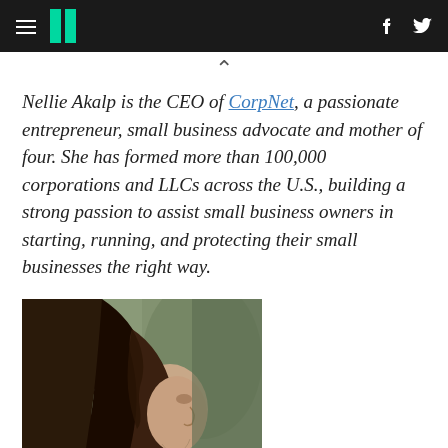HuffPost navigation header with hamburger menu, logo, Facebook and Twitter icons
^ (chevron up icon)
Nellie Akalp is the CEO of CorpNet, a passionate entrepreneur, small business advocate and mother of four. She has formed more than 100,000 corporations and LLCs across the U.S., building a strong passion to assist small business owners in starting, running, and protecting their small businesses the right way.
[Figure (photo): Profile photo of a person with long dark hair shown in side profile view]